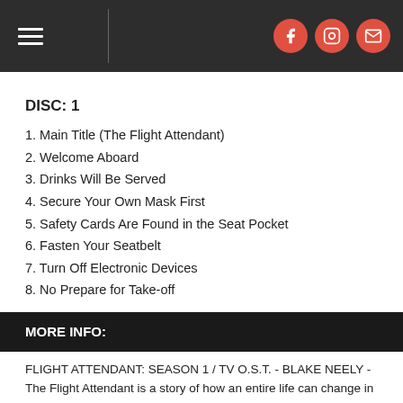Navigation header with hamburger menu and social icons (Facebook, Instagram, Email)
DISC: 1
1. Main Title (The Flight Attendant)
2. Welcome Aboard
3. Drinks Will Be Served
4. Secure Your Own Mask First
5. Safety Cards Are Found in the Seat Pocket
6. Fasten Your Seatbelt
7. Turn Off Electronic Devices
8. No Prepare for Take-off
MORE INFO:
FLIGHT ATTENDANT: SEASON 1 / TV O.S.T. - BLAKE NEELY - The Flight Attendant is a story of how an entire life can change in one night. A flight attendant (Kaley Cuoco) wakes up in the wrong hotel, in the wrong bed, with a dead man - and no idea what happened. The dark comedic thriller is based on the novel of the same name by New York